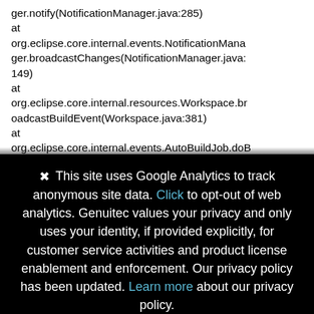ger.notify(NotificationManager.java:285)
at org.eclipse.core.internal.events.NotificationManager.broadcastChanges(NotificationManager.java:149)
at org.eclipse.core.internal.resources.Workspace.broadcastBuildEvent(Workspace.java:381)
at org.eclipse.core.internal.events.AutoBuildJob.doBuild(AutoBuildJob.java:146)
at org.eclipse.core.internal.events.AutoBuildJob.run
✕  This site uses Google Analytics to track anonymous site data. Click to opt-out of web analytics. Genuitec values your privacy and only uses your identity, if provided explicitly, for customer service activities and product license enablement and enforcement. Our privacy policy has been updated. Learn more about our privacy policy.